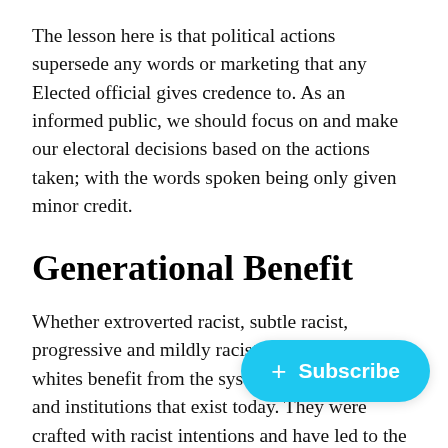The lesson here is that political actions supersede any words or marketing that any Elected official gives credence to. As an informed public, we should focus on and make our electoral decisions based on the actions taken; with the words spoken being only given minor credit.
Generational Benefit
Whether extroverted racist, subtle racist, progressive and mildly racist, or anti-racist, all whites benefit from the systems, laws, policies, and institutions that exist today. They were crafted with racist intentions and have led to the unfair and inequitable syst… today. The unequal treatment of Bla… enforcement. The school-to-prison pipeline that